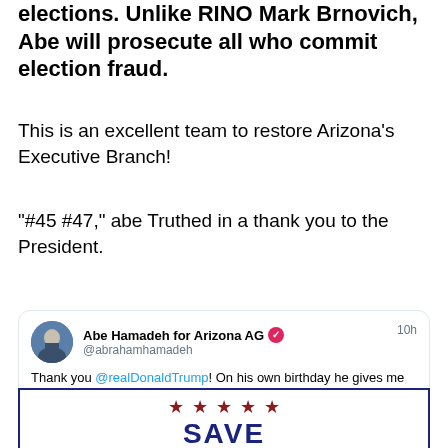elections. Unlike RINO Mark Brnovich, Abe will prosecute all who commit election fraud.
This is an excellent team to restore Arizona's Executive Branch!
“#45 #47,” abe Truthed in a thank you to the President.
[Figure (screenshot): Tweet from Abe Hamadeh for Arizona AG (@abrahamhamadeh) posted 10h ago: 'Thank you @realDonaldTrump! On his own birthday he gives me the greatest gift! We will make Arizona SAFE, SECURE, and FREE again! Thank you Mr. President! #45 #47']
[Figure (infographic): Partial view of a SAVE America style logo/banner with dark blue border, red stars, and large blue text 'SAVE']